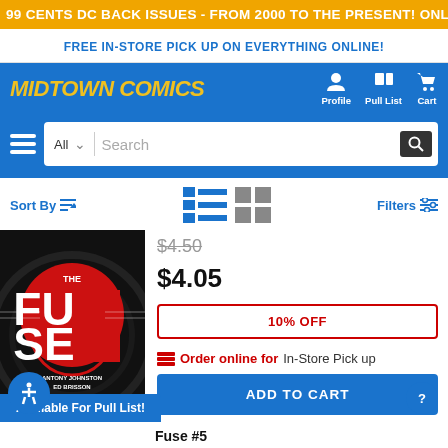99 CENTS DC BACK ISSUES - FROM 2000 TO THE PRESENT! ONLINE ONLY, TODAY ONLY!
FREE IN-STORE PICK UP ON EVERYTHING ONLINE!
MIDTOWN COMICS  Profile  Pull List  Cart
All  Search
Sort By  Filters
[Figure (photo): Comic book cover for 'The Fuse' with red and black design, authors Antony Johnston and Ed Brisson]
$4.50
$4.05
10% OFF
Order online for In-Store Pick up
ADD TO CART
Available For Pull List!
Fuse #5